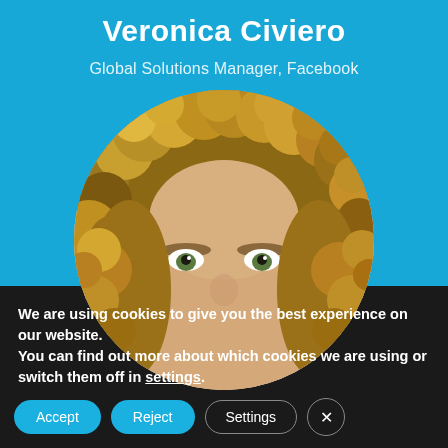Veronica Civiero
Global Solutions Manager, Facebook
[Figure (photo): Circular cropped profile photo of a woman with curly blonde/brown hair, visible from mid-forehead to chin area, on a light grey background]
We are using cookies to give you the best experience on our website.
You can find out more about which cookies we are using or switch them off in settings.
Accept   Reject   Settings   ✕